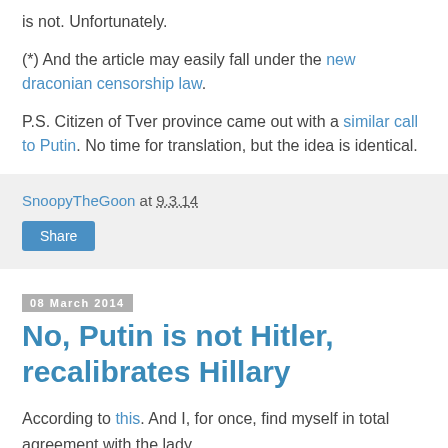is not. Unfortunately.
(*) And the article may easily fall under the new draconian censorship law.
P.S. Citizen of Tver province came out with a similar call to Putin. No time for translation, but the idea is identical.
SnoopyTheGoon at 9.3.14
Share
08 March 2014
No, Putin is not Hitler, recalibrates Hillary
According to this. And I, for once, find myself in total agreement with the lady.
And in general, "you are not Hitler" could be a great